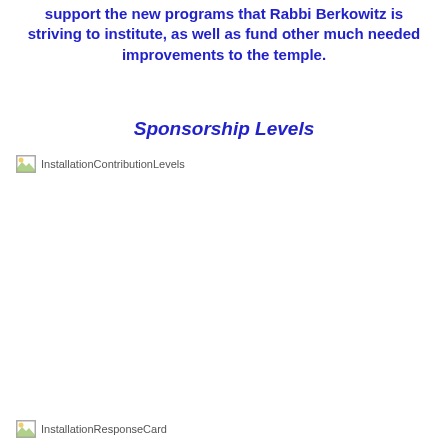support the new programs that Rabbi Berkowitz is striving to institute, as well as fund other much needed improvements to the temple.
Sponsorship Levels
[Figure (other): Broken image placeholder labeled InstallationContributionLevels]
[Figure (other): Broken image placeholder labeled InstallationResponseCard]